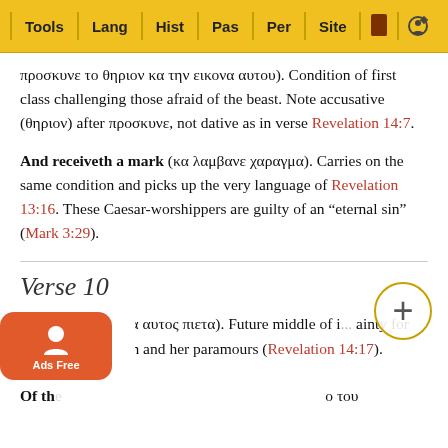Tools | Lang | Hist | Pas | Per | Site
προσκυνε το θηριον κα την εικονα αυτου). Condition of first class challenging those afraid of the beast. Note accusative (θηριον) after προσκυνε, not dative as in verse Revelation 14:7.
And receiveth a mark (κα λαμβανε χαραγμα). Carries on the same condition and picks up the very language of Revelation 13:16. These Caesar-worshippers are guilty of an "eternal sin" (Mark 3:29).
Verse 10
lso shall drink (κα αυτος πιετα). Future middle of i... ainty for him as for Babylon and her paramours (Revelation 14:17).
Of the ... ο του